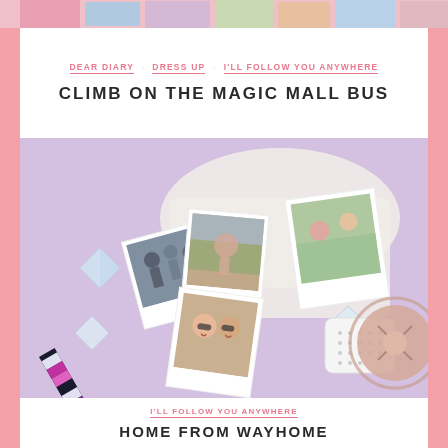[Figure (photo): Top decorative banner strip with colorful photo thumbnails]
DEAR DIARY   DRESS UP   I'LL FOLLOW YOU ANYWHERE
CLIMB ON THE MAGIC MALL BUS
[Figure (photo): Flat lay photo on lavender background showing polaroid photos spilling out of a white tote bag, crystal decorative gems, a portable speaker, rose gold headphones, and a colorful patterned umbrella]
I'LL FOLLOW YOU ANYWHERE
HOME FROM WAYHOME